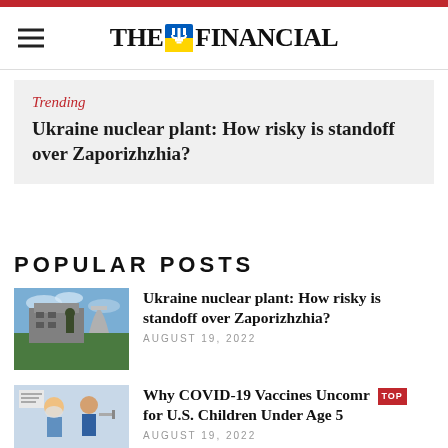THE FINANCIAL
Trending
Ukraine nuclear plant: How risky is standoff over Zaporizhzhia?
POPULAR POSTS
[Figure (photo): Photo of a soldier standing in front of the Zaporizhzhia nuclear power plant building]
Ukraine nuclear plant: How risky is standoff over Zaporizhzhia?
AUGUST 19, 2022
[Figure (photo): Photo related to COVID-19 vaccines for children]
Why COVID-19 Vaccines Uncomr TOP for U.S. Children Under Age 5
AUGUST 19, 2022